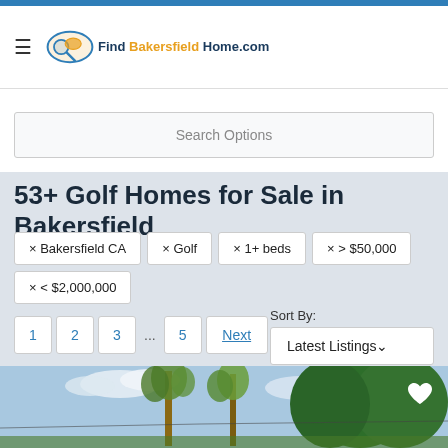FindBakersfieldHome.com
Search Options
53+ Golf Homes for Sale in Bakersfield
× Bakersfield CA
× Golf
× 1+ beds
× > $50,000
× < $2,000,000
1  2  3  ...  5  Next
Sort By: Latest Listings
[Figure (photo): Outdoor scene with tall palm trees and green trees against a blue sky with clouds]